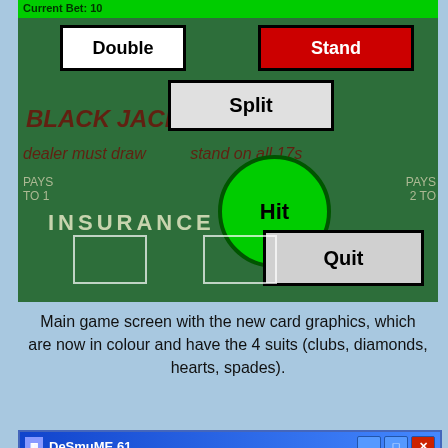[Figure (screenshot): Blackjack game screenshot showing a green casino table with buttons: Double (white), Stand (red), Split (gray), Hit (green circle), Quit (gray). Top bar shows 'Current Bet: 10'.]
Main game screen with the new card graphics, which are now in colour and have the 4 suits (clubs, diamonds, hearts, spades).
[Figure (screenshot): DeSmuME 61 emulator window showing a blackjack game with Dealer hand: 8 of hearts, 2 of clubs, 3 of hearts, J of hearts, and a red X button. Bottom shows Player and SOFT labels.]